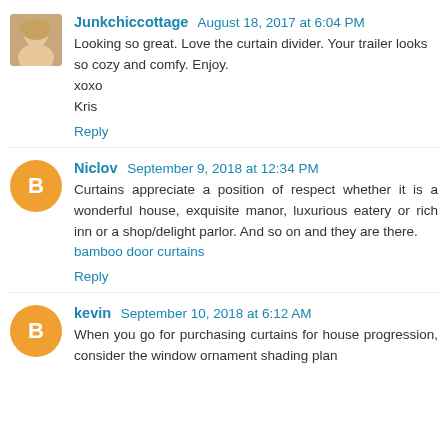Junkchiccottage  August 18, 2017 at 6:04 PM
Looking so great. Love the curtain divider. Your trailer looks so cozy and comfy. Enjoy.
xoxo
Kris
Reply
Niclov  September 9, 2018 at 12:34 PM
Curtains appreciate a position of respect whether it is a wonderful house, exquisite manor, luxurious eatery or rich inn or a shop/delight parlor. And so on and they are there.
bamboo door curtains
Reply
kevin  September 10, 2018 at 6:12 AM
When you go for purchasing curtains for house progression, consider the window ornament shading plan